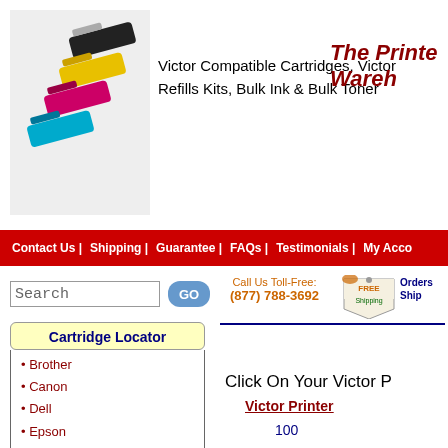[Figure (photo): Color ink toner cartridges (black, yellow, magenta, cyan)]
Victor Compatible Cartridges, Victor Refills Kits, Bulk Ink & Bulk Toner
The Printer Warehouse
Contact Us | Shipping | Guarantee | FAQs | Testimonials | My Account
Search
Call Us Toll-Free: (877) 788-3692
[Figure (illustration): FREE Shipping badge/tag]
Orders Ship
Cartridge Locator
Brother
Canon
Dell
Epson
Hewlett Packard (HP)
Lexmark
Minolta
Ricoh
Samsung
Xerox
Show All Brands
Click On Your Victor P
Victor Printer
100
600
830
1205
1205-2
1205-3
1208